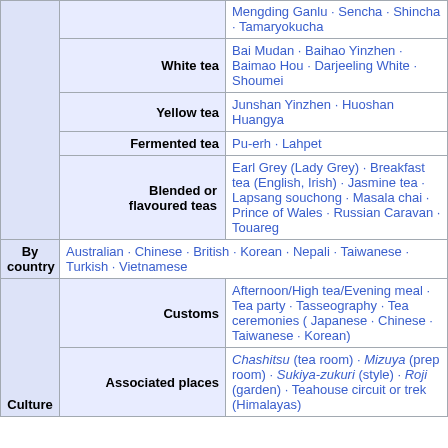|  |  | Mengding Ganlu · Sencha · Shincha · Tamaryokucha |
|  | White tea | Bai Mudan · Baihao Yinzhen · Baimao Hou · Darjeeling White · Shoumei |
|  | Yellow tea | Junshan Yinzhen · Huoshan Huangya |
|  | Fermented tea | Pu-erh · Lahpet |
|  | Blended or flavoured teas | Earl Grey (Lady Grey) · Breakfast tea (English, Irish) · Jasmine tea · Lapsang souchong · Masala chai · Prince of Wales · Russian Caravan · Touareg |
| By country |  | Australian · Chinese · British · Korean · Nepali · Taiwanese · Turkish · Vietnamese |
| Culture | Customs | Afternoon/High tea/Evening meal · Tea party · Tasseography · Tea ceremonies ( Japanese · Chinese · Taiwanese · Korean) |
| Culture | Associated places | Chashitsu (tea room) · Mizuya (prep room) · Sukiya-zukuri (style) · Roji (garden) · Teahouse circuit or trek (Himalayas) |